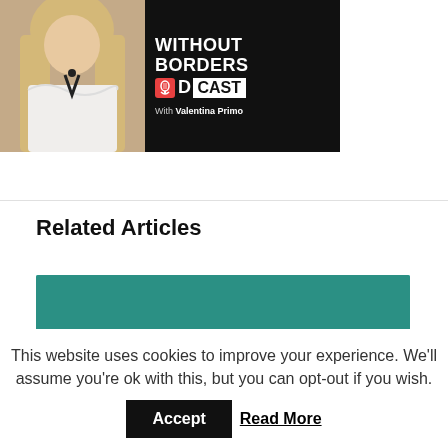[Figure (illustration): Podcast artwork showing a woman with blonde hair wearing a white ruffled blouse with black ribbon, against a dark background with text 'WITHOUT BORDERS PODCAST with Valentina Primo']
Related Articles
[Figure (photo): Partial image with teal/turquoise textured surface, bottom portion of a related article thumbnail]
This website uses cookies to improve your experience. We'll assume you're ok with this, but you can opt-out if you wish.
Accept
Read More